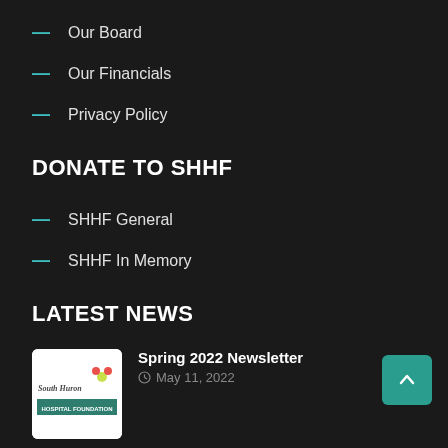Our Board
Our Financials
Privacy Policy
DONATE TO SHHF
SHHF General
SHHF In Memory
LATEST NEWS
[Figure (logo): South Huron Hospital Foundation logo on white background]
Spring 2022 Newsletter
May 11, 2022